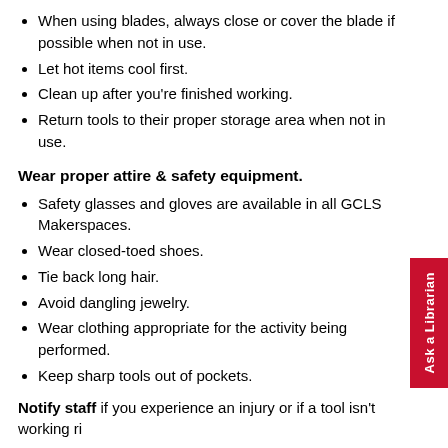When using blades, always close or cover the blade if possible when not in use.
Let hot items cool first.
Clean up after you're finished working.
Return tools to their proper storage area when not in use.
Wear proper attire & safety equipment.
Safety glasses and gloves are available in all GCLS Makerspaces.
Wear closed-toed shoes.
Tie back long hair.
Avoid dangling jewelry.
Wear clothing appropriate for the activity being performed.
Keep sharp tools out of pockets.
Notify staff if you experience an injury or if a tool isn't working ri...
Supervise minors. It is required that anyone under age 13 is supervised by a parent or guardian in all GCLS Makerspaces at all times. But supervision is highly encouraged for families of all ages as the makerspace contains sharp, hot, and potentially dangerous...